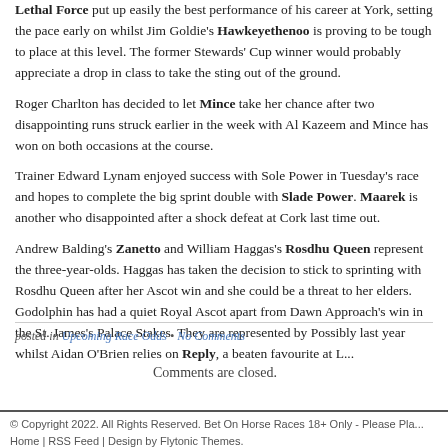Lethal Force put up easily the best performance of his career at York, setting the pace early on whilst Jim Goldie's Hawkeyethenoo is proving to be tough to place at this level. The former Stewards' Cup winner would probably appreciate a drop in class to take the sting out of the ground.
Roger Charlton has decided to let Mince take her chance after two disappointing runs struck earlier in the week with Al Kazeem and Mince has won on both occasions at the course.
Trainer Edward Lynam enjoyed success with Sole Power in Tuesday's race and hopes to complete the big sprint double with Slade Power. Maarek is another who disappointed after a shock defeat at Cork last time out.
Andrew Balding's Zanetto and William Haggas's Rosdhu Queen represent the three-year-olds. Haggas has taken the decision to stick to sprinting with Rosdhu Queen after her Ascot win and she could be a threat to her elders. Godolphin has had a quiet Royal Ascot apart from Dawn Approach's win in the St. James's Palace Stakes. They are represented by Possibly last year whilst Aidan O'Brien relies on Reply, a beaten favourite at L...
posted in Upcoming Race Odds • No Comments
Comments are closed.
© Copyright 2022. All Rights Reserved. Bet On Horse Races 18+ Only - Please Pla... Home | RSS Feed | Design by Flytonic Themes.